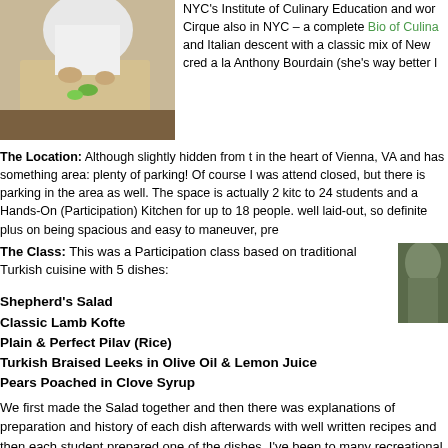[Figure (photo): Overhead photo of a chef working on a cutting board with green ingredients]
NYC's Institute of Culinary Education and wor Cirque also in NYC – a complete Bio of Culina and Italian descent with a classic mix of New cred a la Anthony Bourdain (she's way better l
The Location: Although slightly hidden from t in the heart of Vienna, VA and has something area: plenty of parking! Of course I was attend closed, but there is parking in the area as well. The space is actually 2 kitc to 24 students and a Hands-On (Participation) Kitchen for up to 18 people. well laid-out, so definite plus on being spacious and easy to maneuver, pre
The Class: This was a Participation class based on traditional Turkish cuisine with 5 dishes:
Shepherd's Salad
Classic Lamb Kofte
Plain & Perfect Pilav (Rice)
Turkish Braised Leeks in Olive Oil & Lemon Juice
Pears Poached in Clove Syrup
We first made the Salad together and then there was explanations of preparation and history of each dish afterwards with well written recipes and then each student prepared one of the dishes. I've been to many recreational cooking classes and what I liked most about this one was the instructors's interesting personal history and story about her mother who was a child in war-torn France during WW II – and
[Figure (photo): Partial photo on right side showing green/food content]